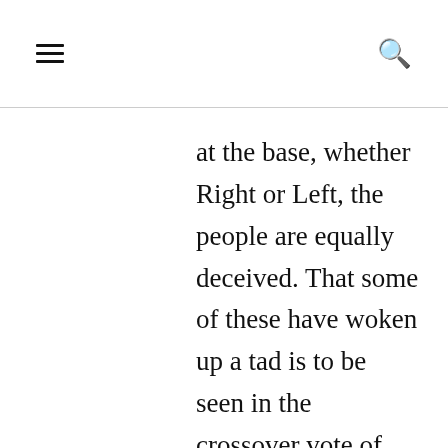≡  🔍
at the base, whether Right or Left, the people are equally deceived. That some of these have woken up a tad is to be seen in the crossover vote of Dems voting this cycle for Trump. There have been no personal grind Martha into the dust